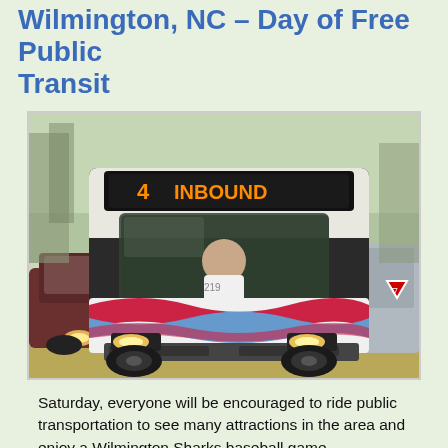Wilmington, NC – Day of Free Public Transit
[Figure (photo): A public transit bus with route sign reading '4 INBOUND' driving on a road, with colorful wave design on the side. Other vehicles visible alongside.]
Saturday, everyone will be encouraged to ride public transportation to see many attractions in the area and enjoy a Wilmington Sharks baseball game.
In addition to waiving fares for the day, Wave Transit has joined with the Wilmington Sharks Baseball Club